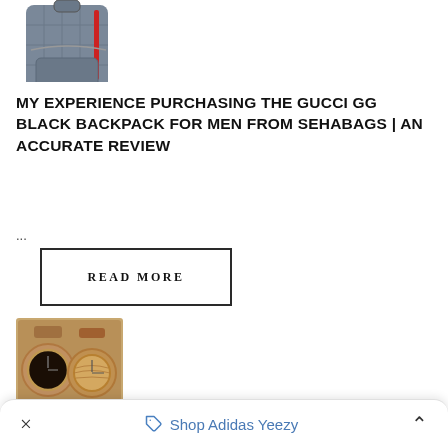[Figure (photo): Gucci GG Black backpack for men, dark gray with red stripe, partially visible at the top of the page]
MY EXPERIENCE PURCHASING THE GUCCI GG BLACK BACKPACK FOR MEN FROM SEHABAGS | AN ACCURATE REVIEW
...
READ MORE
[Figure (photo): Two wooden watches with brown leather straps displayed on a wooden surface, one with dark face and one with natural wood face]
PERSONALIZED GIFT FOR HIM THAT HE'LL TOTALLY ADORE
× Shop Adidas Yeezy ^